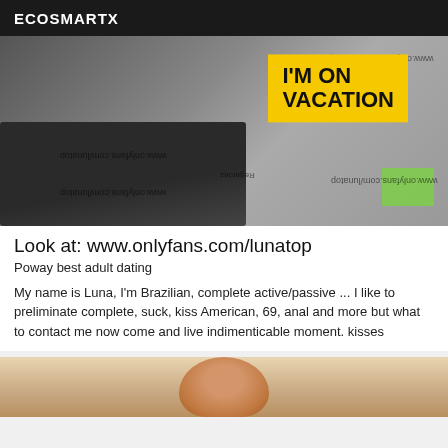ECOSMARTX
[Figure (photo): Mirrored/upside-down photo of sticky note on laptop saying I'M ON VACATION with www.onlyfans.com/lunatop watermarks visible multiple times]
Look at: www.onlyfans.com/lunatop
Poway best adult dating
My name is Luna, I'm Brazilian, complete active/passive ... I like to preliminate complete, suck, kiss American, 69, anal and more but what to contact me now come and live indimenticable moment. kisses
[Figure (photo): Partial photo of a person's face at the bottom of the page]